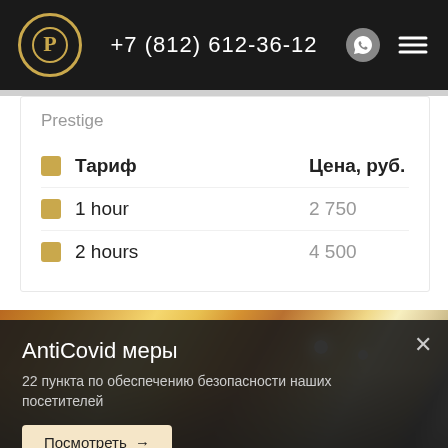+7 (812) 612-36-12
Prestige
| Тариф | Цена, руб. |
| --- | --- |
| 1 hour | 2 750 |
| 2 hours | 4 500 |
[Figure (photo): Interior room photo showing ceiling lights and jacuzzi]
AntiCovid меры
22 пункта по обеспечению безопасности наших посетителей
Посмотреть →